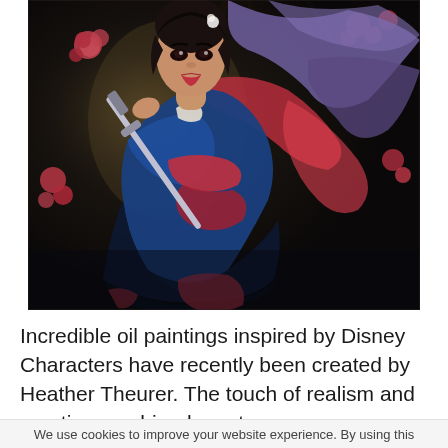[Figure (illustration): Oil painting of a Mulan-inspired Disney character holding a sword, wearing a blue and red traditional Chinese outfit with flowing purple and red fabric. Cherry blossoms in the background on a dark background.]
Incredible oil paintings inspired by Disney Characters have recently been created by Heather Theurer. The touch of realism and emotion combined create some very beautiful paintings. The artist specializes in oil painting which can be very skill intensive and detail in
We use cookies to improve your website experience. By using this